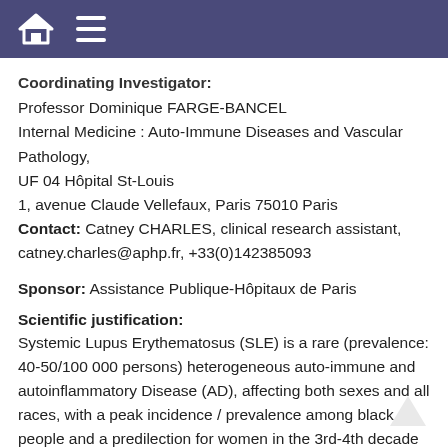Coordinating Investigator:
Professor Dominique FARGE-BANCEL
Internal Medicine : Auto-Immune Diseases and Vascular Pathology,
UF 04 Hôpital St-Louis
1, avenue Claude Vellefaux, Paris 75010 Paris
Contact: Catney CHARLES, clinical research assistant, catney.charles@aphp.fr, +33(0)142385093
Sponsor: Assistance Publique-Hôpitaux de Paris
Scientific justification:
Systemic Lupus Erythematosus (SLE) is a rare (prevalence: 40-50/100 000 persons) heterogeneous auto-immune and autoinflammatory Disease (AD), affecting both sexes and all races, with a peak incidence / prevalence among black people and a predilection for women in the 3rd-4th decade of life. SLE